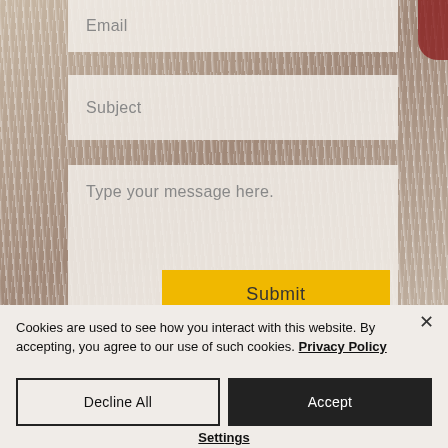[Figure (screenshot): Website contact form screenshot showing Email, Subject, and message text area fields with placeholder text, over a blurred photo background of white fur. A yellow Submit button is partially visible at the bottom.]
Email
Subject
Type your message here.
Submit
Cookies are used to see how you interact with this website. By accepting, you agree to our use of such cookies. Privacy Policy
Decline All
Accept
Settings